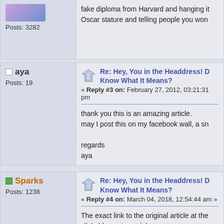Posts: 3282
fake diploma from Harvard and hanging it... Oscar stature and telling people you won...
aya | Posts: 19
Re: Hey, You in the Headdress! D... Know What It Means?
« Reply #3 on: February 27, 2012, 03:21:31 pm
thank you this is an amazing article.
may I post this on my facebook wall, a sn...

regards
aya
Sparks | Posts: 1238
Re: Hey, You in the Headdress! D... Know What It Means?
« Reply #4 on: March 04, 2018, 12:54:44 am »
The exact link to the original article at the... clickable, so I post it here:
https://indiancountrymedianetwork.com/ne... know-what-it-means/